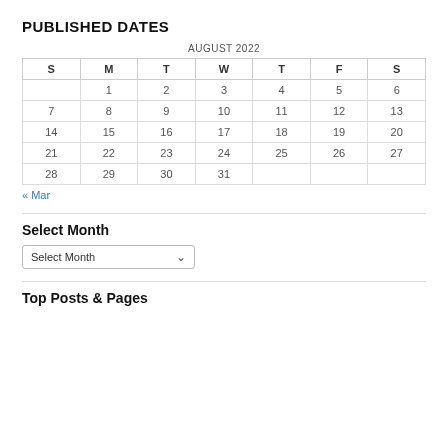PUBLISHED DATES
| S | M | T | W | T | F | S |
| --- | --- | --- | --- | --- | --- | --- |
|  | 1 | 2 | 3 | 4 | 5 | 6 |
| 7 | 8 | 9 | 10 | 11 | 12 | 13 |
| 14 | 15 | 16 | 17 | 18 | 19 | 20 |
| 21 | 22 | 23 | 24 | 25 | 26 | 27 |
| 28 | 29 | 30 | 31 |  |  |  |
« Mar
Select Month
Select Month
Top Posts & Pages